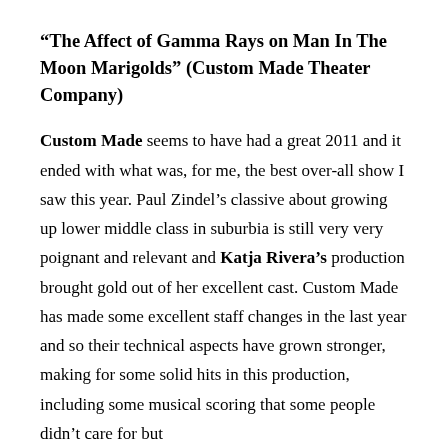“The Affect of Gamma Rays on Man In The Moon Marigolds” (Custom Made Theater Company)
Custom Made seems to have had a great 2011 and it ended with what was, for me, the best over-all show I saw this year. Paul Zindel’s classive about growing up lower middle class in suburbia is still very very poignant and relevant and Katja Rivera’s production brought gold out of her excellent cast. Custom Made has made some excellent staff changes in the last year and so their technical aspects have grown stronger, making for some solid hits in this production, including some musical scoring that some people didn’t care for but